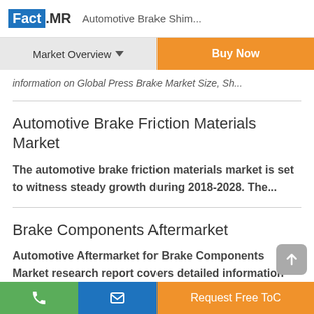Fact.MR  Automotive Brake Shim...
Market Overview ▼
Buy Now
information on Global Press Brake Market Size, Sh...
Automotive Brake Friction Materials Market
The automotive brake friction materials market is set to witness steady growth during 2018-2028. The...
Brake Components Aftermarket
Automotive Aftermarket for Brake Components Market research report covers detailed information
Request Free ToC